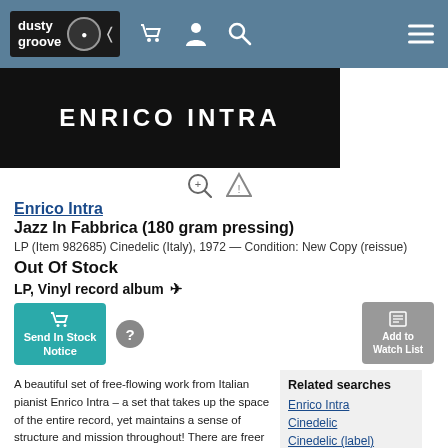dusty groove
[Figure (other): Album cover banner showing 'ENRICO INTRA' in white bold text on black background]
Enrico Intra
Jazz In Fabbrica (180 gram pressing)
LP (Item 982685) Cinedelic (Italy), 1972 — Condition: New Copy (reissue)
Out Of Stock
LP, Vinyl record album
Send In Stock Notice
Add to Watch List
A beautiful set of free-flowing work from Italian pianist Enrico Intra – a set that takes up the space of the entire record, yet maintains a sense of structure and mission throughout! There are freer passages in the work, but the set isn't completely free jazz overall – as Intra has a way of pacing things out and using some more spacious piano lines to bring everyone else into periods of regrouping – masterfully directing a quintet that includes Sergio Fanni on trumpet, Giancarlo
Related searches
Enrico Intra
Cinedelic
Cinedelic (label)
Jazz (CD, LP)